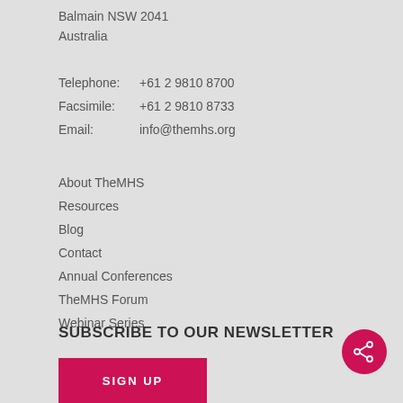Balmain NSW 2041
Australia
Telephone:    +61 2 9810 8700
Facsimile:    +61 2 9810 8733
Email:           info@themhs.org
About TheMHS
Resources
Blog
Contact
Annual Conferences
TheMHS Forum
Webinar Series
SUBSCRIBE TO OUR NEWSLETTER
SIGN UP